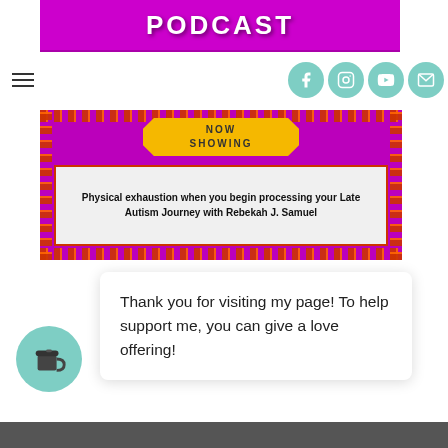[Figure (screenshot): Podcast banner with magenta/purple background and 'PODCAST' text in white bold letters]
[Figure (screenshot): Navigation bar with hamburger menu icon on left and four teal circular social media icons (Facebook, Instagram, YouTube, Email) on right]
[Figure (screenshot): Theater marquee banner image with magenta background, 'NOW SHOWING' badge in yellow, and episode title 'Physical exhaustion when you begin processing your Late Autism Journey with Rebekah J. Samuel' on white marquee board with decorative dot border]
Thank you for visiting my page! To help support me, you can give a love offering!
[Figure (illustration): Teal circular button with coffee cup icon]